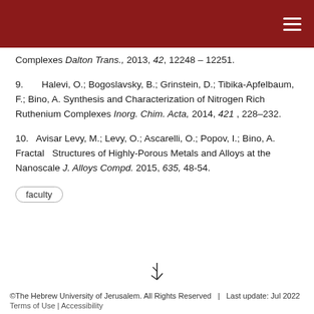Complexes Dalton Trans., 2013, 42, 12248 – 12251.
9.   Halevi, O.; Bogoslavsky, B.; Grinstein, D.; Tibika-Apfelbaum, F.; Bino, A. Synthesis and Characterization of Nitrogen Rich Ruthenium Complexes Inorg. Chim. Acta, 2014, 421, 228–232.
10.  Avisar Levy, M.; Levy, O.; Ascarelli, O.; Popov, I.; Bino, A. Fractal Structures of Highly-Porous Metals and Alloys at the Nanoscale J. Alloys Compd. 2015, 635, 48-54.
faculty
©The Hebrew University of Jerusalem. All Rights Reserved  |  Last update: Jul 2022
Terms of Use | Accessibility